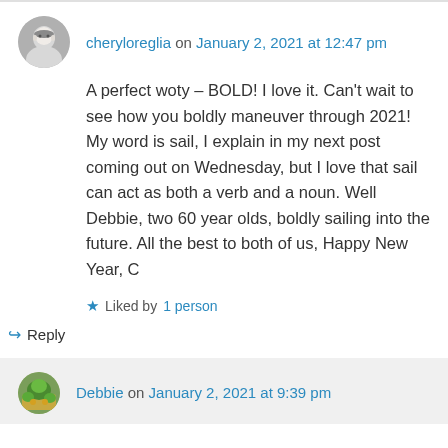cheryloreglia on January 2, 2021 at 12:47 pm
A perfect woty – BOLD! I love it. Can't wait to see how you boldly maneuver through 2021! My word is sail, I explain in my next post coming out on Wednesday, but I love that sail can act as both a verb and a noun. Well Debbie, two 60 year olds, boldly sailing into the future. All the best to both of us, Happy New Year, C
Liked by 1 person
Reply
Debbie on January 2, 2021 at 9:39 pm